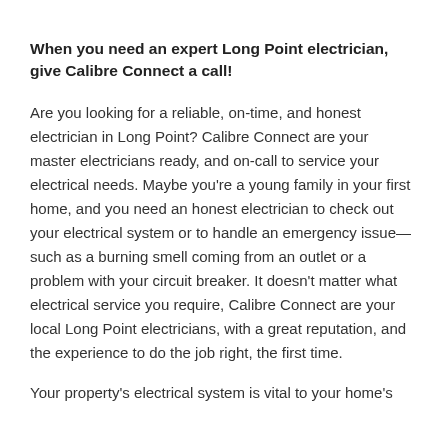When you need an expert Long Point electrician, give Calibre Connect a call!
Are you looking for a reliable, on-time, and honest electrician in Long Point? Calibre Connect are your master electricians ready, and on-call to service your electrical needs. Maybe you're a young family in your first home, and you need an honest electrician to check out your electrical system or to handle an emergency issue—such as a burning smell coming from an outlet or a problem with your circuit breaker. It doesn't matter what electrical service you require, Calibre Connect are your local Long Point electricians, with a great reputation, and the experience to do the job right, the first time.
Your property's electrical system is vital to your home's